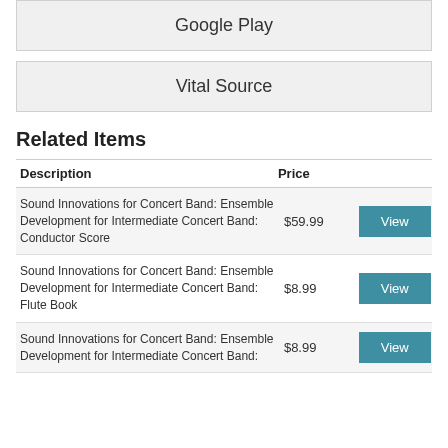Google Play
Vital Source
Related Items
| Description | Price |  |
| --- | --- | --- |
| Sound Innovations for Concert Band: Ensemble Development for Intermediate Concert Band: Conductor Score | $59.99 | View |
| Sound Innovations for Concert Band: Ensemble Development for Intermediate Concert Band: Flute Book | $8.99 | View |
| Sound Innovations for Concert Band: Ensemble Development for Intermediate Concert Band: | $8.99 | View |